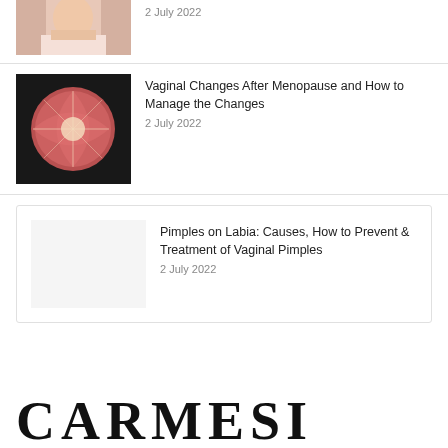[Figure (photo): Partial view of woman in pink robe, cropped at top]
2 July 2022
[Figure (photo): Close-up of a halved grapefruit on dark background]
Vaginal Changes After Menopause and How to Manage the Changes
2 July 2022
Pimples on Labia: Causes, How to Prevent & Treatment of Vaginal Pimples
2 July 2022
CARMESI